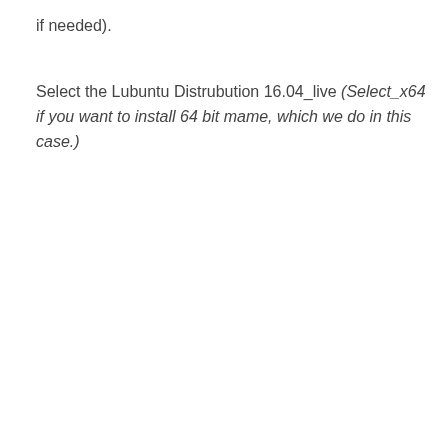if needed).
Select the Lubuntu Distrubution 16.04_live (Select_x64 if you want to install 64 bit mame, which we do in this case.)